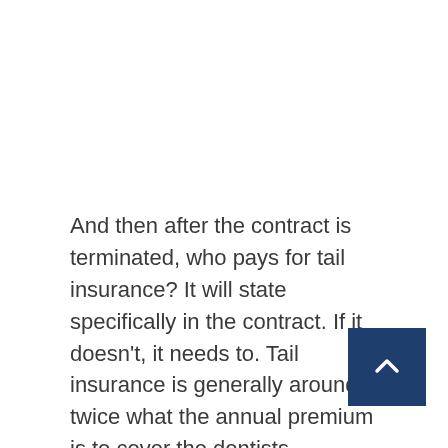And then after the contract is terminated, who pays for tail insurance? It will state specifically in the contract. If it doesn't, it needs to. Tail insurance is generally around twice what the annual premium is to cover the dentists. Whatever they must pay on a yearly basis, you just multiply that times two, and that's kind of a good estimate as far as how much the dentist would have to pay for tail if they had to pay for it. It's a one-time cost, so you don't have to pay on a